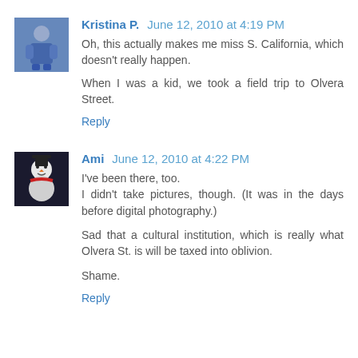[Figure (photo): Avatar of Kristina P., a blue character figure]
Kristina P. June 12, 2010 at 4:19 PM
Oh, this actually makes me miss S. California, which doesn't really happen.

When I was a kid, we took a field trip to Olvera Street.
Reply
[Figure (photo): Avatar of Ami, a snowman character]
Ami June 12, 2010 at 4:22 PM
I've been there, too.
I didn't take pictures, though. (It was in the days before digital photography.)

Sad that a cultural institution, which is really what Olvera St. is will be taxed into oblivion.

Shame.
Reply